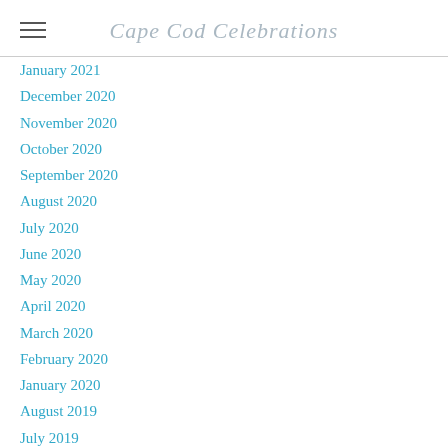Cape Cod Celebrations
January 2021
December 2020
November 2020
October 2020
September 2020
August 2020
July 2020
June 2020
May 2020
April 2020
March 2020
February 2020
January 2020
August 2019
July 2019
June 2019
May 2019
April 2019